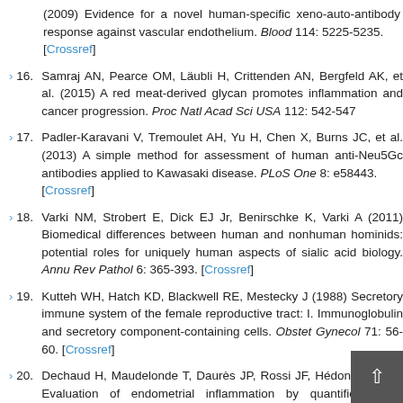(2009) Evidence for a novel human-specific xeno-auto-antibody response against vascular endothelium. Blood 114: 5225-5235. [Crossref]
16. Samraj AN, Pearce OM, Läubli H, Crittenden AN, Bergfeld AK, et al. (2015) A red meat-derived glycan promotes inflammation and cancer progression. Proc Natl Acad Sci USA 112: 542-547
17. Padler-Karavani V, Tremoulet AH, Yu H, Chen X, Burns JC, et al. (2013) A simple method for assessment of human anti-Neu5Gc antibodies applied to Kawasaki disease. PLoS One 8: e58443. [Crossref]
18. Varki NM, Strobert E, Dick EJ Jr, Benirschke K, Varki A (2011) Biomedical differences between human and nonhuman hominids: potential roles for uniquely human aspects of sialic acid biology. Annu Rev Pathol 6: 365-393. [Crossref]
19. Kutteh WH, Hatch KD, Blackwell RE, Mestecky J (1988) Secretory immune system of the female reproductive tract: I. Immunoglobulin and secretory component-containing cells. Obstet Gynecol 71: 56-60. [Crossref]
20. Dechaud H, Maudelonde T, Daurès JP, Rossi JF, Hédon B (1998) Evaluation of endometrial inflammation by quantification of macrophages, T lymphocytes, and interleukin-1 and -6 in